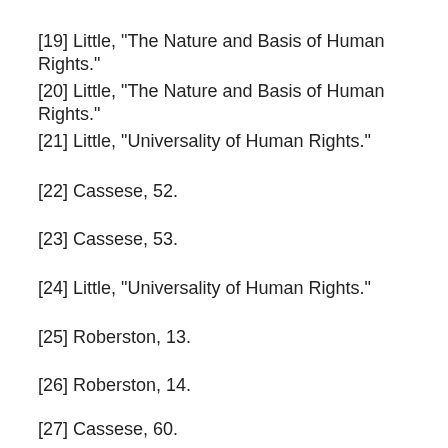[19] Little, "The Nature and Basis of Human Rights."
[20] Little, "The Nature and Basis of Human Rights."
[21] Little, "Universality of Human Rights."
[22] Cassese, 52.
[23] Cassese, 53.
[24] Little, "Universality of Human Rights."
[25] Roberston, 13.
[26] Roberston, 14.
[27] Cassese, 60.